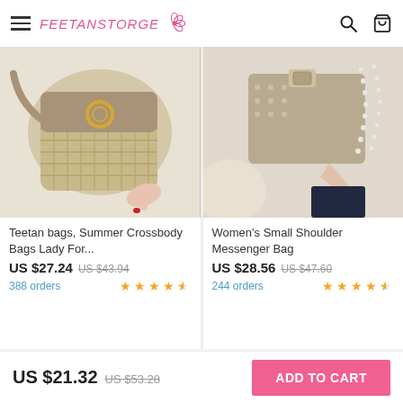FeetanStorge
[Figure (photo): Woven straw crossbody bag with gold ring clasp, held by a person on a white bed]
Teetan bags, Summer Crossbody Bags Lady For...
US $27.24 US $43.94
388 orders ★★★★☆
[Figure (photo): Beige suede messenger bag with pearl/crystal chain straps, held by a person]
Women's Small Shoulder Messenger Bag
US $28.56 US $47.60
244 orders ★★★★☆
TOP
US $21.32 US $53.28
ADD TO CART